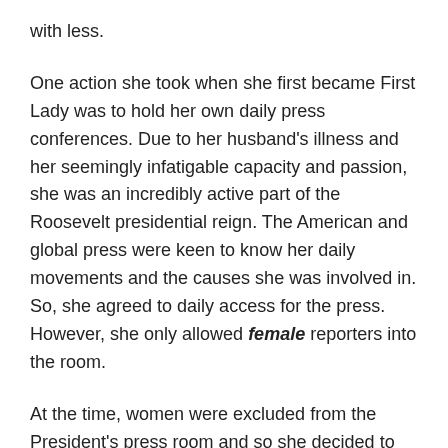with less.
One action she took when she first became First Lady was to hold her own daily press conferences. Due to her husband’s illness and her seemingly infatigable capacity and passion, she was an incredibly active part of the Roosevelt presidential reign. The American and global press were keen to know her daily movements and the causes she was involved in. So, she agreed to daily access for the press. However, she only allowed female reporters into the room.
At the time, women were excluded from the President’s press room and so she decided to make the opposite mandate for her own. As a result, news outlets were forced to hire female reporters if they didn’t want to fall behind on the news coming from the First Lady’s office.